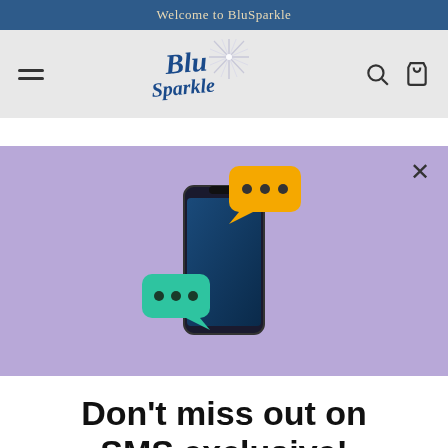Welcome to BluSparkle
[Figure (logo): BluSparkle logo with stylized 'Blu Sparkle' text and starburst graphic in blue and silver]
[Figure (illustration): SMS marketing popup with purple background showing a smartphone with yellow and teal/green speech bubble chat icons and an X close button]
Don't miss out on SMS exclusive!